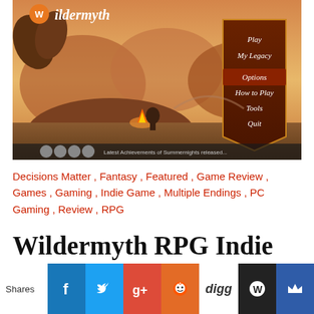[Figure (screenshot): Wildermyth game screenshot showing a campfire scene with fantasy characters, mountain landscape, and game menu with options: Play, My Legacy, Options, How to Play, Tools, Quit. Wildermyth logo in top-left corner.]
Decisions Matter , Fantasy , Featured , Game Review , Games , Gaming , Indie Game , Multiple Endings , PC Gaming , Review , RPG
Wildermyth RPG Indie Game Review